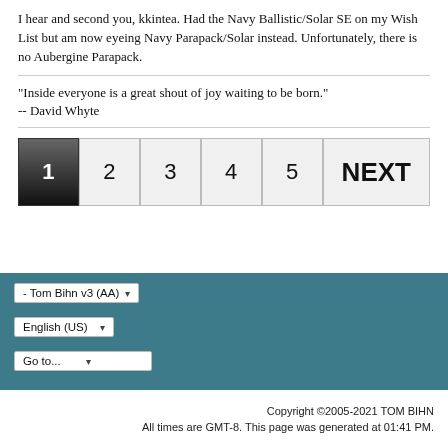I hear and second you, kkintea. Had the Navy Ballistic/Solar SE on my Wish List but am now eyeing Navy Parapack/Solar instead. Unfortunately, there is no Aubergine Parapack.
"Inside everyone is a great shout of joy waiting to be born."
-- David Whyte
[Figure (other): Pagination navigation with buttons: 1 (active/dark), 2, 3, 4, 5, NEXT]
- Tom Bihn v3 (AA) ▾
English (US) ▾
Go to...
Copyright ©2005-2021 TOM BIHN
All times are GMT-8. This page was generated at 01:41 PM.